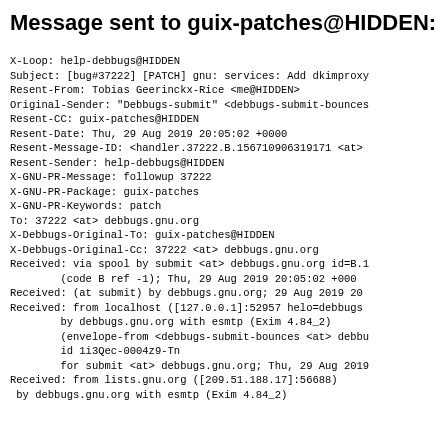Message sent to guix-patches@HIDDEN:
X-Loop: help-debbugs@HIDDEN
Subject: [bug#37222] [PATCH] gnu: services: Add dkimproxy
Resent-From: Tobias Geerinckx-Rice <me@HIDDEN>
Original-Sender: "Debbugs-submit" <debbugs-submit-bounces
Resent-CC: guix-patches@HIDDEN
Resent-Date: Thu, 29 Aug 2019 20:05:02 +0000
Resent-Message-ID: <handler.37222.B.156710906319171 <at>
Resent-Sender: help-debbugs@HIDDEN
X-GNU-PR-Message: followup 37222
X-GNU-PR-Package: guix-patches
X-GNU-PR-Keywords: patch
To: 37222 <at> debbugs.gnu.org
X-Debbugs-Original-To: guix-patches@HIDDEN
X-Debbugs-Original-Cc: 37222 <at> debbugs.gnu.org
Received: via spool by submit <at> debbugs.gnu.org id=B.1
        (code B ref -1); Thu, 29 Aug 2019 20:05:02 +000
Received: (at submit) by debbugs.gnu.org; 29 Aug 2019 20
Received: from localhost ([127.0.0.1]:52957 helo=debbugs
        by debbugs.gnu.org with esmtp (Exim 4.84_2)
        (envelope-from <debbugs-submit-bounces <at> debbu
        id 1i3Qec-0004z9-Tn
        for submit <at> debbugs.gnu.org; Thu, 29 Aug 2019
Received: from lists.gnu.org ([209.51.188.17]:56688)
 by debbugs.gnu.org with esmtp (Exim 4.84_2)